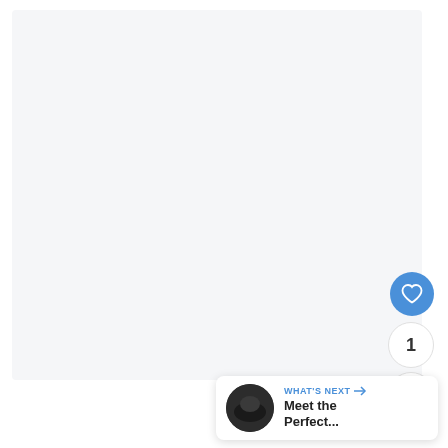[Figure (screenshot): Large light gray content area, likely a blank or loading page background]
[Figure (illustration): Blue circular like/heart button with heart icon]
1
[Figure (illustration): White circular share button with share/network icon]
[Figure (illustration): What's Next panel with thumbnail and text: WHAT'S NEXT → Meet the Perfect...]